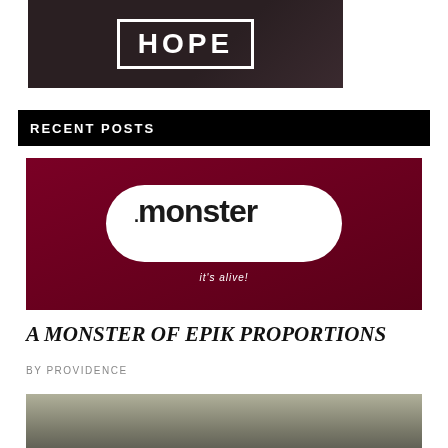[Figure (illustration): Dark brownish-black image with the word HOPE in large white bold letters inside a white rectangular border frame, with faint leaf/branch patterns in the background.]
RECENT POSTS
[Figure (logo): Deep red/crimson background with a white bubble logo containing '.monster' text in bold black with dripping effect, and 'it's alive!' text below in white italic.]
A MONSTER OF EPIK PROPORTIONS
BY PROVIDENCE
[Figure (photo): Partial landscape photo visible at the bottom of the page, muted greenish-gray tones suggesting an outdoor scene.]